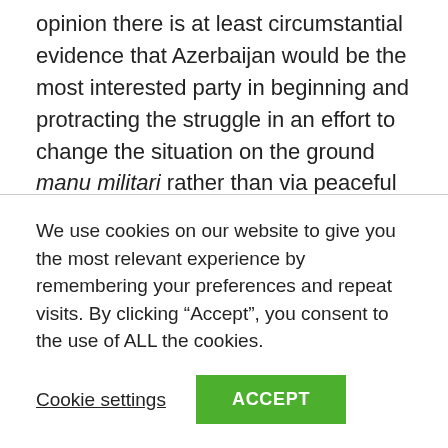opinion there is at least circumstantial evidence that Azerbaijan would be the most interested party in beginning and protracting the struggle in an effort to change the situation on the ground manu militari rather than via peaceful negotiations.

Regardless, as the war continues, the conflict is quickly becoming a humanitarian disaster. The repeated shelling of Stepanakert and dozens of towns and villages of Nagorno-Karabakh, followed by Armenian retaliations, has already seen tens of thousands flee and dozens of civilians
We use cookies on our website to give you the most relevant experience by remembering your preferences and repeat visits. By clicking “Accept”, you consent to the use of ALL the cookies.
Cookie settings   ACCEPT